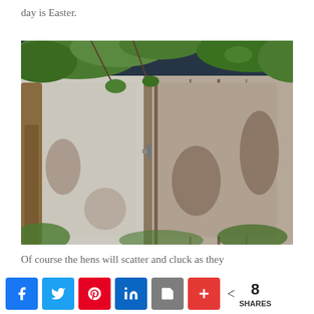day is Easter.
[Figure (photo): Photograph of a rustic weathered white-painted outhouse or small shed with peeling paint and a crescent moon cutout on the door, surrounded by trees and foliage with a dark shingled roof visible at the top.]
Of course the hens will scatter and cluck as they
< 8 SHARES — social share buttons: Facebook, Twitter, Pinterest, LinkedIn, Google, Plus